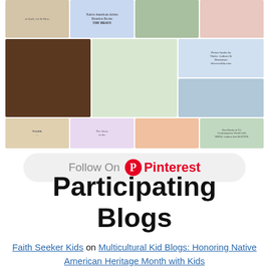[Figure (screenshot): Pinterest widget showing a grid of book cover images and a 'Follow On Pinterest' button]
Participating Blogs
Faith Seeker Kids on Multicultural Kid Blogs: Honoring Native American Heritage Month with Kids
Discovering the World Through My Son's Eyes: 5 Tasty Indigenous Recipes
Crafty Moms Share: A Look at Native Hawaiians